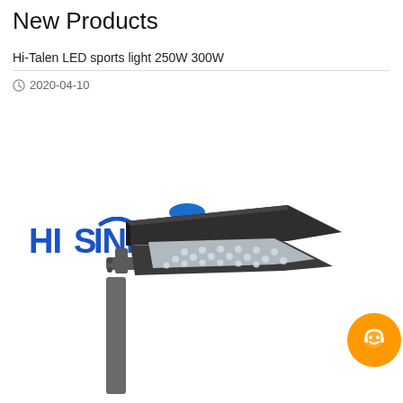New Products
Hi-Talen LED sports light 250W 300W
2020-04-10
[Figure (photo): HiShine GR logo followed by an LED sports/street light fixture mounted on a pole with a blue cap on top, photographed on a white background. An orange chat support button overlays the top-right area of the image.]